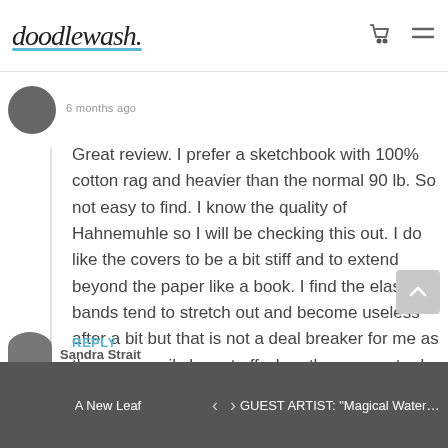doodlewash. [cart icon] [menu icon]
6 months ago
Great review. I prefer a sketchbook with 100% cotton rag and heavier than the normal 90 lb. So not easy to find. I know the quality of Hahnemuhle so I will be checking this out. I do like the covers to be a bit stiff and to extend beyond the paper like a book. I find the elastic bands tend to stretch out and become useless after a bit but that is not a deal breaker for me as they can easily be cut off when they cease to do their job. Thank you for the thorough review.
REPLY
A New Leaf  <  >  GUEST ARTIST: "Magical Watercolor" by...